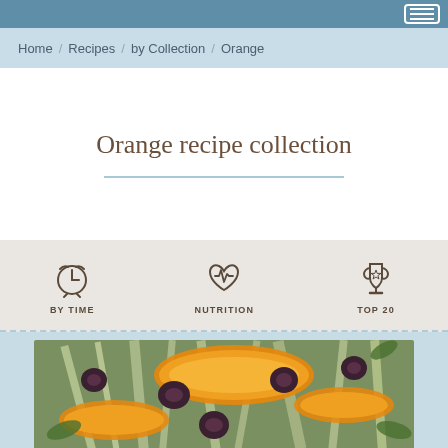Home / Recipes / by Collection / Orange
Orange recipe collection
BY TIME | NUTRITION | TOP 20
[Figure (photo): Close-up photo of an orange salad with olives, fennel, arugula and mandarin orange segments.]